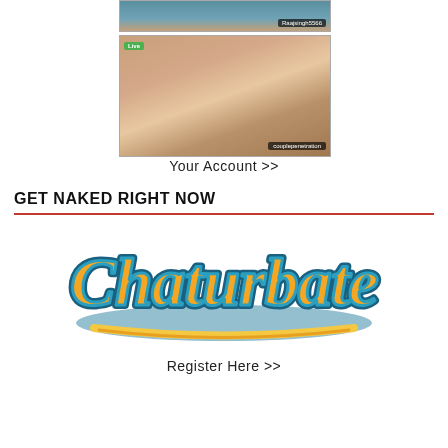[Figure (screenshot): Screenshot of a live streaming platform showing two thumbnails: one labeled 'Raajsingh5566' and another with a 'Live' badge labeled 'couplepenetration']
Your Account >>
GET NAKED RIGHT NOW
[Figure (logo): Chaturbate logo in orange and teal script lettering]
Register Here >>